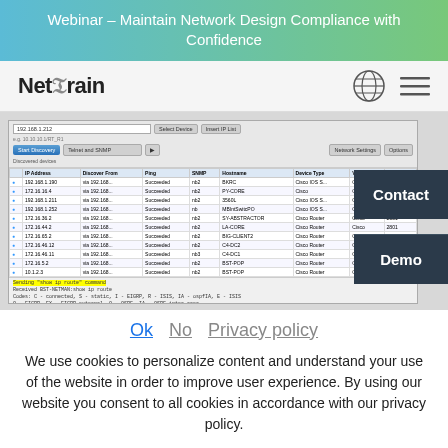Webinar – Maintain Network Design Compliance with Confidence
[Figure (screenshot): NetBrain logo with navigation bar showing globe icon and hamburger menu]
[Figure (screenshot): NetBrain network discovery tool screenshot showing a device discovery table with IP addresses, hostnames, device types and a console output panel. Contact and Demo buttons visible on the right side.]
Ok   No   Privacy policy
We use cookies to personalize content and understand your use of the website in order to improve user experience. By using our website you consent to all cookies in accordance with our privacy policy.